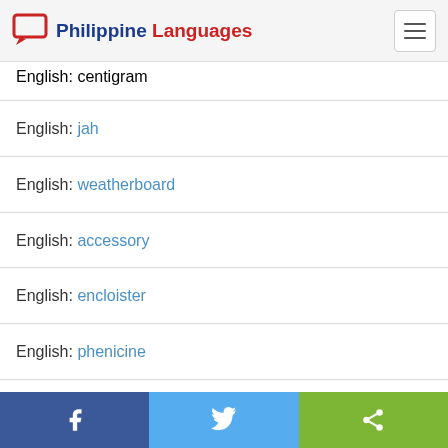Philippine Languages
English: centigram
English: jah
English: weatherboard
English: accessory
English: encloister
English: phenicine
English: throughly